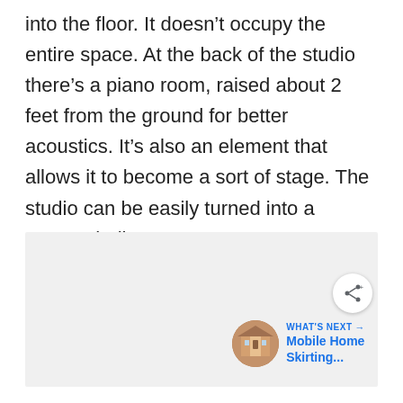into the floor. It doesn’t occupy the entire space. At the back of the studio there’s a piano room, raised about 2 feet from the ground for better acoustics. It’s also an element that allows it to become a sort of stage. The studio can be easily turned into a concert hall.
[Figure (other): Light gray rectangular image area with a share button (circular white button with share icon) and a 'What's Next' navigation element showing a circular thumbnail of a mobile home and text 'Mobile Home Skirting...']